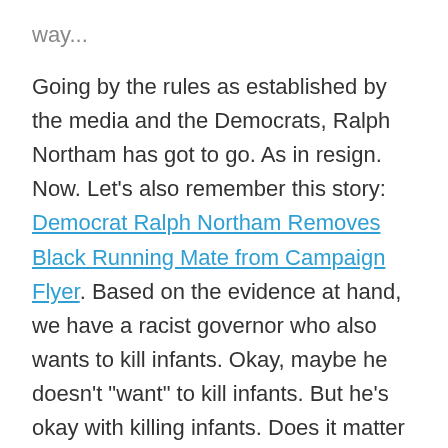way...
Going by the rules as established by the media and the Democrats, Ralph Northam has got to go. As in resign. Now. Let's also remember this story: Democrat Ralph Northam Removes Black Running Mate from Campaign Flyer. Based on the evidence at hand, we have a racist governor who also wants to kill infants. Okay, maybe he doesn't "want" to kill infants. But he's okay with killing infants. Does it matter if he wants to or not when the result of dead infants is the same? I don't see Saint Peter delineating that one: "Well Ralpie, you didn't want the babies to get snuffed. You just